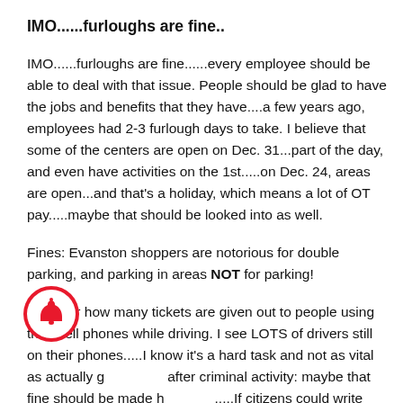IMO......furloughs are fine..
IMO......furloughs are fine......every employee should be able to deal with that issue.  People should be glad to have the jobs and benefits that they have....a few years ago, employees had 2-3 furlough days to take.  I believe that some of the centers are open on Dec. 31...part of the day, and even have activities on the 1st.....on Dec. 24, areas are open...and that's a holiday, which means a lot of OT pay.....maybe that should be looked into as well.
Fines:  Evanston shoppers are notorious for double parking, and parking in areas NOT for parking!
I wonder how many tickets are given out to people using their cell phones while driving.  I see LOTS of drivers still on their phones.....I know it's a hard task and not as vital as actually going after criminal activity:  maybe that fine should be made higher.....If citizens could write tickets when we see people doing that, I guarantee a lot of extra revenue would be